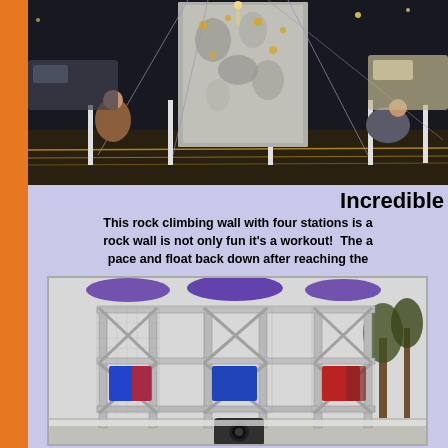[Figure (photo): Night photo of a rock climbing wall with four stations set up outdoors in a parking lot area, with people near the base and rope barriers surrounding it. Cars visible in background.]
Incredible
This rock climbing wall with four stations is a... rock wall is not only fun it's a workout!  The a... pace and float back down after reaching the...
[Figure (photo): Daytime photo of a large rock climbing wall structure with metal frame scaffolding, purple and blue tarps/canopies on top, colorful panels (blue, red) on the climbing faces, and netting on the sides. Trees visible in background.]